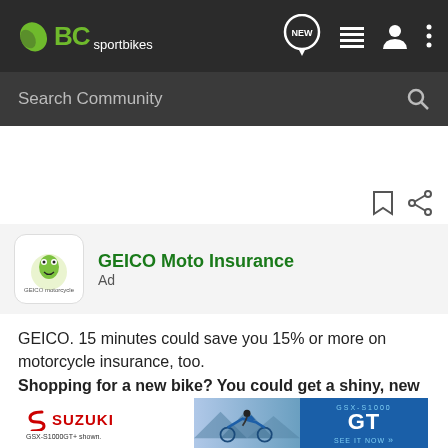BC sportbikes — navigation header with NEW, list, user, and menu icons
Search Community
[Figure (screenshot): Whitespace area with bookmark and share icons at right]
GEICO Moto Insurance
Ad
GEICO. 15 minutes could save you 15% or more on motorcycle insurance, too.
Shopping for a new bike? You could get a shiny, new quote & see how much you could save.
[Figure (photo): Suzuki GSX-S1000GT advertisement banner. Shows motorcycle and rider with mountains, Suzuki logo, GSX-S1000 GT badge, SEE IT NOW button. Text: SUZUKI, GSX-S1000GT, GSX-S1000GT+ shown., SEE IT NOW >>]